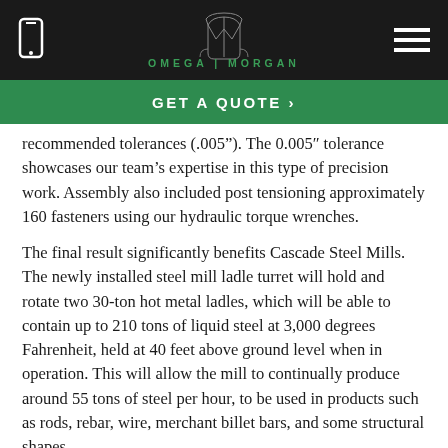Omega Morgan — mobile website header with phone icon, logo, and hamburger menu
GET A QUOTE >
recommended tolerances (.005″). The 0.005″ tolerance showcases our team's expertise in this type of precision work. Assembly also included post tensioning approximately 160 fasteners using our hydraulic torque wrenches.
The final result significantly benefits Cascade Steel Mills. The newly installed steel mill ladle turret will hold and rotate two 30-ton hot metal ladles, which will be able to contain up to 210 tons of liquid steel at 3,000 degrees Fahrenheit, held at 40 feet above ground level when in operation. This will allow the mill to continually produce around 55 tons of steel per hour, to be used in products such as rods, rebar, wire, merchant billet bars, and some structural shapes.